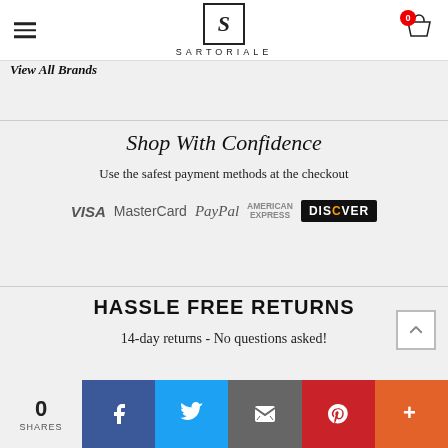SARTORIALE
View All Brands
[Figure (infographic): Payment trust badge showing: VISA MasterCard PayPal AMERICAN EXPRESS DISCOVER]
Shop With Confidence
Use the safest payment methods at the checkout
HASSLE FREE RETURNS
14-day returns - No questions asked!
0 SHARES | Facebook | Twitter | Email | Pinterest | More